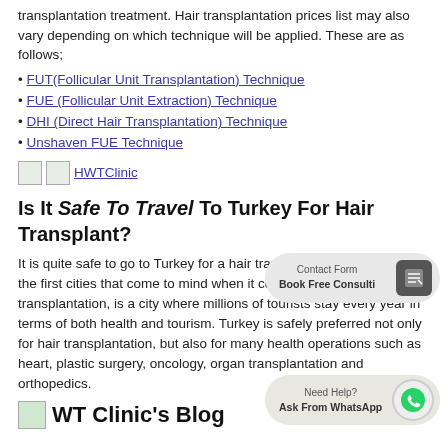transplantation treatment. Hair transplantation prices list may also vary depending on which technique will be applied. These are as follows;
FUT(Follicular Unit Transplantation) Technique
FUE (Follicular Unit Extraction) Technique
DHI (Direct Hair Transplantation) Technique
Unshaven FUE Technique
[Figure (logo): HWTClinic logo icons]
Is It Safe To Travel To Turkey For Hair Transplant?
It is quite safe to go to Turkey for a hair transplant. Istanbul, one of the first cities that come to mind when it comes to hair transplantation, is a city where millions of tourists stay every year in terms of both health and tourism. Turkey is safely preferred not only for hair transplantation, but also for many health operations such as heart, plastic surgery, oncology, organ transplantation and orthopedics.
[Figure (infographic): Contact Form - Book Free Consultation button overlay]
[Figure (infographic): Need Help? Ask From WhatsApp button overlay]
HWT Clinic's Blog